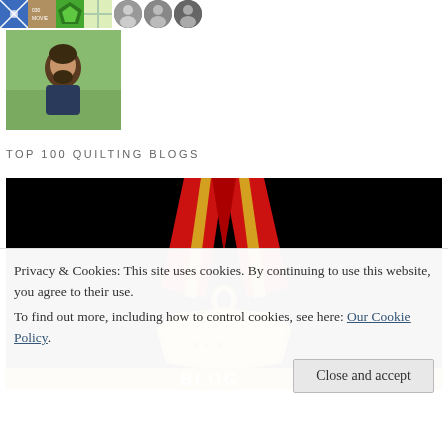[Figure (photo): Row of small avatar/thumbnail images at the top including colorful quilt pattern, person photo, and circular profile images]
[Figure (photo): Single photo of a bearded man against a green background]
TOP 100 QUILTING BLOGS
[Figure (illustration): Gold award medal with red ribbon on black background, partially visible. Bottom strip shows BLOG text in gold.]
Privacy & Cookies: This site uses cookies. By continuing to use this website, you agree to their use.
To find out more, including how to control cookies, see here: Our Cookie Policy
Close and accept